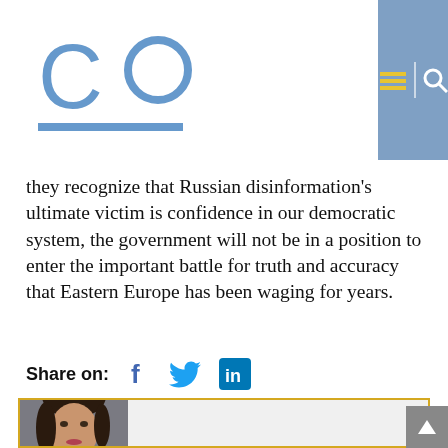[Figure (logo): Co (company logo) in blue with underline bar, on white background within blue navigation header]
they recognize that Russian disinformation's ultimate victim is confidence in our democratic system, the government will not be in a position to enter the important battle for truth and accuracy that Eastern Europe has been waging for years.
Share on:
[Figure (infographic): Social share icons: Facebook (f), Twitter (bird), LinkedIn (in)]
[Figure (photo): Author photo: woman with dark hair, professional headshot, inside a bordered author card with light gray background]